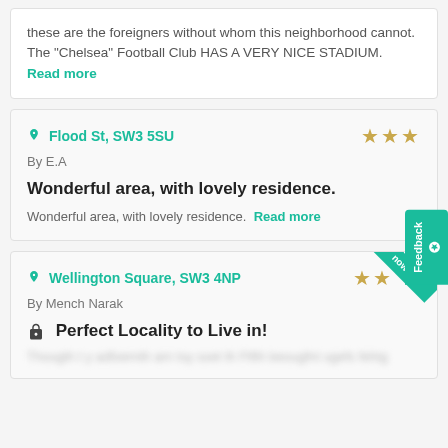these are the foreigners without whom this neighborhood cannot. The "Chelsea" Football Club HAS A VERY NICE STADIUM. Read more
Flood St, SW3 5SU
By E.A
Wonderful area, with lovely residence.
Wonderful area, with lovely residence. Read more
Wellington Square, SW3 4NP
By Mench Narak
Perfect Locality to Live in!